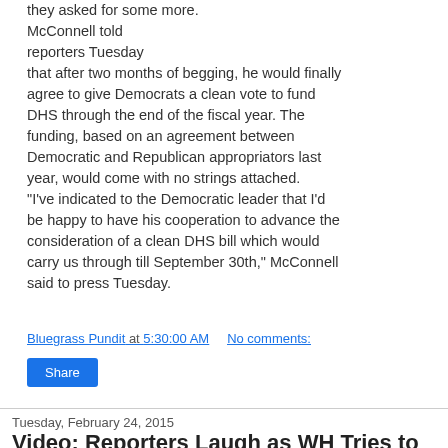they asked for some more. McConnell told reporters Tuesday that after two months of begging, he would finally agree to give Democrats a clean vote to fund DHS through the end of the fiscal year. The funding, based on an agreement between Democratic and Republican appropriators last year, would come with no strings attached. "I've indicated to the Democratic leader that I'd be happy to have his cooperation to advance the consideration of a clean DHS bill which would carry us through till September 30th," McConnell said to press Tuesday.
Bluegrass Pundit at 5:30:00 AM   No comments:
Share
Tuesday, February 24, 2015
Video: Reporters Laugh as WH Tries to